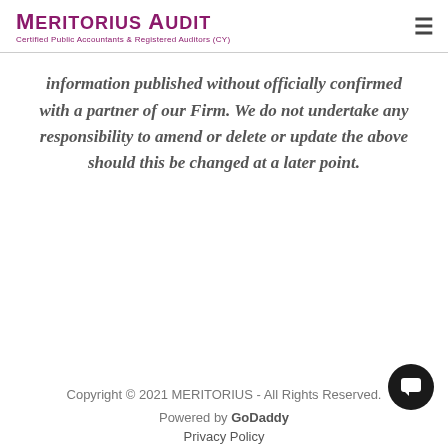MERITORIUS AUDIT
Certified Public Accountants & Registered Auditors (CY)
information published without officially confirmed with a partner of our Firm. We do not undertake any responsibility to amend or delete or update the above should this be changed at a later point.
Copyright © 2021 MERITORIUS - All Rights Reserved.
Powered by GoDaddy
Privacy Policy